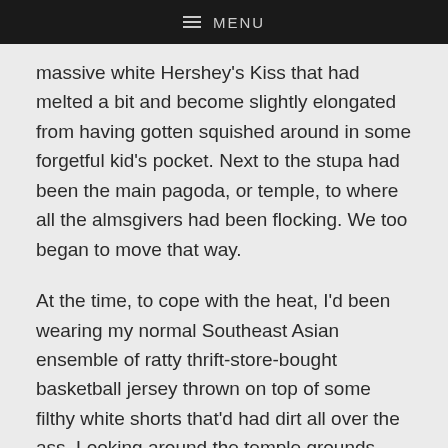≡ MENU
massive white Hershey's Kiss that had melted a bit and become slightly elongated from having gotten squished around in some forgetful kid's pocket. Next to the stupa had been the main pagoda, or temple, to where all the almsgivers had been flocking. We too began to move that way.
At the time, to cope with the heat, I'd been wearing my normal Southeast Asian ensemble of ratty thrift-store-bought basketball jersey thrown on top of some filthy white shorts that'd had dirt all over the ass. Looking around the temple grounds, even though monks with their shoulders exposed had probably showed as much skin as I had, I could tell that I fucked up. Pretty much every non-monk man on the premises had been wearing